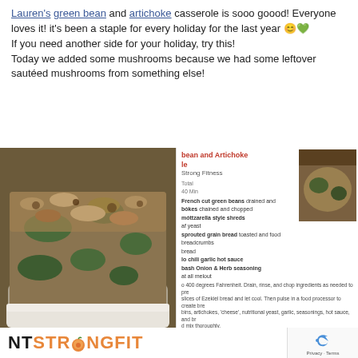Lauren's green bean and artichoke casserole is sooo goood! Everyone loves it! it's been a staple for every holiday for the last year 😊💚
If you need another side for your holiday, try this!
Today we added some mushrooms because we had some leftover sautéed mushrooms from something else!
[Figure (photo): Photo of a green bean and artichoke casserole baked in a white dish, with breadcrumb topping, alongside a partial view of a recipe card webpage]
bean and Artichoke le
Strong Fitness
Total
40 Min
French cut green beans drained and
bókes chained and chopped
mótzarella style shreds
af yeast
sprouted grain bread toasted and food breadcrumbs
bread
lo chili garlic hot sauce
bash Onion & Herb seasoning
at all melout
Preheat o 400 degrees Fahrenheit. Drain, rinse, and chop ingredients as needed to prep. Toast slices of Ezekiel bread and let cool. Then pulse in a food processor to create bread crumbs. Combine beans, artichokes, 'cheese', nutritional yeast, garlic, seasonings, hot sauce, and breadcrumbs and mix thoroughly. Prepare a baking dish with non-stick spray. Pour the mixture into the dish and distribute evenly. Drizzle or spray coconut oil over the top and cover the dish with aluminum foil. Bake covered 25 minutes, then remove the foil and bake for an additional 15 minutes. Serve immediately for delicious (but leftovers also taste great cold).
Drain and rinse beans and artichokes. Chop artichokes and mince garlic.
NTSTRONGFIT
Privacy · Terms